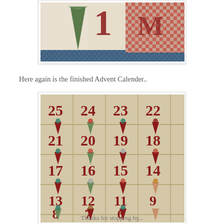[Figure (photo): Top portion of an advent calendar craft project showing fabric letters/numbers on a patchwork background with red and blue checked fabric and green paper cones]
Here again is the finished Advent Calender..
[Figure (photo): Finished Advent Calendar showing a wooden board with numbers 1-25 in dark red, each with a decorative cone/pocket made of fabric attached, containing small ornaments and gifts]
Thanks for stopping by...